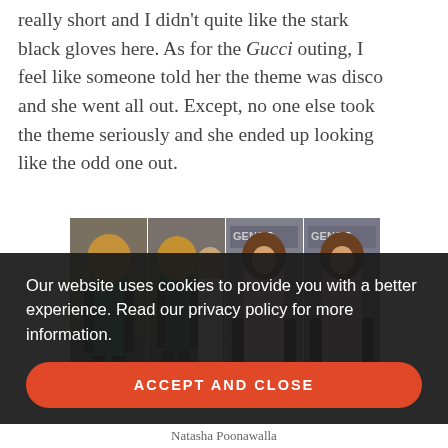really short and I didn't quite like the stark black gloves here. As for the Gucci outing, I feel like someone told her the theme was disco and she went all out. Except, no one else took the theme seriously and she ended up looking like the odd one out.
[Figure (photo): Four panel photo strip showing two women in different outfits. Left two panels: woman with curly hair wearing a teal/green metallic dress with black lace tights and black jacket. Right two panels: woman with brown hair wearing a pink ruffled strapless dress with long black gloves, standing in front of 'GENESIS' branded backdrop.]
Our website uses cookies to provide you with a better experience. Read our privacy policy for more information.
ACCEPT AND CLOSE
Natasha Poonawalla